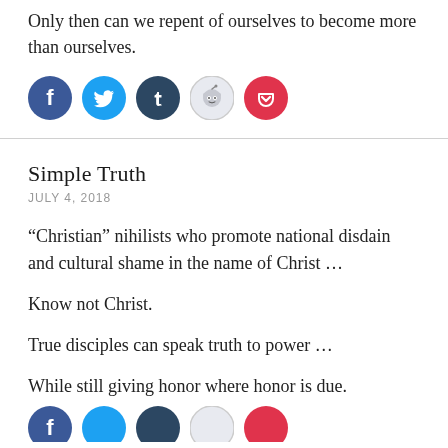Only then can we repent of ourselves to become more than ourselves.
[Figure (illustration): Row of five social sharing icon circles: Facebook (blue), Twitter (cyan), Tumblr (dark blue), Reddit (light grey), Pocket (red)]
Simple Truth
JULY 4, 2018
“Christian” nihilists who promote national disdain and cultural shame in the name of Christ …
Know not Christ.
True disciples can speak truth to power …
While still giving honor where honor is due.
[Figure (illustration): Row of five social sharing icon circles (partially visible at bottom): Facebook (blue), Twitter (cyan), Tumblr (dark blue), Reddit (light grey), Pocket (red)]